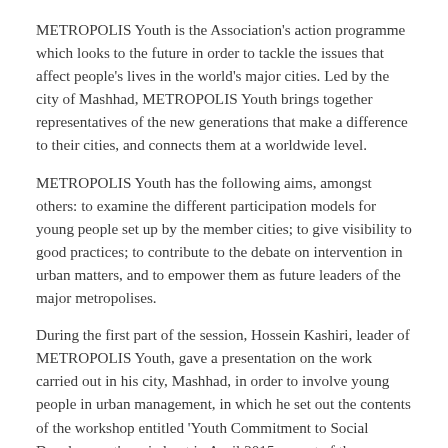METROPOLIS Youth is the Association's action programme which looks to the future in order to tackle the issues that affect people's lives in the world's major cities. Led by the city of Mashhad, METROPOLIS Youth brings together representatives of the new generations that make a difference to their cities, and connects them at a worldwide level.
METROPOLIS Youth has the following aims, amongst others: to examine the different participation models for young people set up by the member cities; to give visibility to good practices; to contribute to the debate on intervention in urban matters, and to empower them as future leaders of the major metropolises.
During the first part of the session, Hossein Kashiri, leader of METROPOLIS Youth, gave a presentation on the work carried out in his city, Mashhad, in order to involve young people in urban management, in which he set out the contents of the workshop entitled 'Youth Commitment to Social Development' carried out in April 2015 as part of the programmes of  METROPOLIS Training.
he second part of the workshop was organized as a round-table discussion, in which the participants were able to set out, in a very personal manner, their experience with various kinds of youth